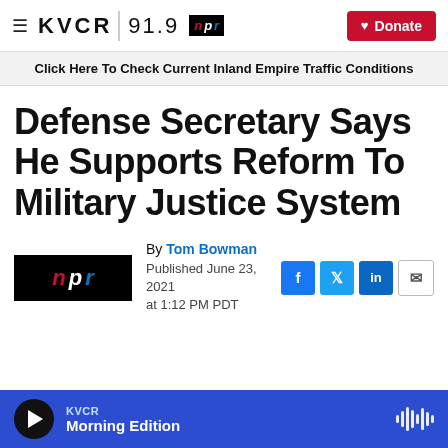KVCR 91.9 NPR | Donate
Click Here To Check Current Inland Empire Traffic Conditions
Defense Secretary Says He Supports Reform To Military Justice System
By Tom Bowman
Published June 23, 2021 at 1:12 PM PDT
KVCR Morning Edition